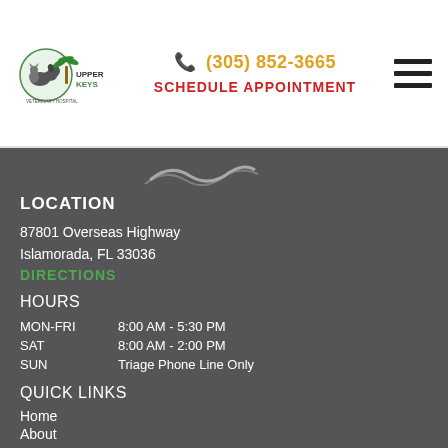[Figure (logo): Upper Keys Veterinarian Hospital logo with dog, cat, and palm tree icon]
(305) 852-3665  SCHEDULE APPOINTMENT
[Figure (illustration): Wave/logo graphic at top of dark section]
LOCATION
87801 Overseas Highway
Islamorada, FL 33036
DIRECTIONS
HOURS
| MON-FRI | 8:00 AM - 5:30 PM |
| SAT | 8:00 AM - 2:00 PM |
| SUN | Triage Phone Line Only |
QUICK LINKS
Home
About